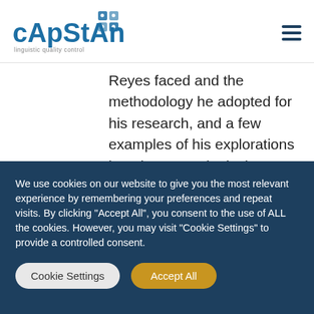cApStAn — linguistic quality control
Reyes faced and the methodology he adopted for his research, and a few examples of his explorations into the “etymological underworld” of terms, drawn from the book.
Research methodology and challenges
We use cookies on our website to give you the most relevant experience by remembering your preferences and repeat visits. By clicking “Accept All”, you consent to the use of ALL the cookies. However, you may visit "Cookie Settings" to provide a controlled consent.